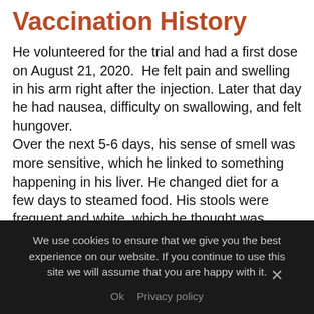Vaccination History
He volunteered for the trial and had a first dose on August 21, 2020.  He felt pain and swelling in his arm right after the injection. Later that day he had nausea, difficulty on swallowing, and felt hungover.
Over the next 5-6 days, his sense of smell was more sensitive, which he linked to something happening in his liver. He changed diet for a few days to steamed food. His stools were frequent and white, which he thought was linked to Sertal. His urine in the morning was darker than usual but not coluric.
During those days he took one famotidine per day,
We use cookies to ensure that we give you the best experience on our website. If you continue to use this site we will assume that you are happy with it.
Ok   Privacy policy